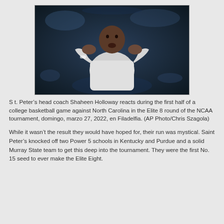[Figure (photo): A man in a white long-sleeve shirt cups his hands around his mouth, appearing to shout or call out. The background is dark, consistent with a basketball arena setting.]
S t. Peter's head coach Shaheen Holloway reacts during the first half of a college basketball game against North Carolina in the Elite 8 round of the NCAA tournament, domingo, marzo 27, 2022, en Filadelfia. (AP Photo/Chris Szagola)
While it wasn't the result they would have hoped for, their run was mystical. Saint Peter's knocked off two Power 5 schools in Kentucky and Purdue and a solid Murray State team to get this deep into the tournament. They were the first No. 15 seed to ever make the Elite Eight.